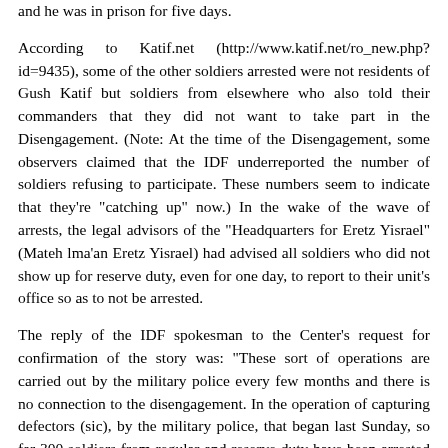and he was in prison for five days.
According to Katif.net (http://www.katif.net/ro_new.php?id=9435), some of the other soldiers arrested were not residents of Gush Katif but soldiers from elsewhere who also told their commanders that they did not want to take part in the Disengagement. (Note: At the time of the Disengagement, some observers claimed that the IDF underreported the number of soldiers refusing to participate. These numbers seem to indicate that they're "catching up" now.) In the wake of the wave of arrests, the legal advisors of the "Headquarters for Eretz Yisrael" (Mateh lma'an Eretz Yisrael) had advised all soldiers who did not show up for reserve duty, even for one day, to report to their unit's office so as to not be arrested.
The reply of the IDF spokesman to the Center's request for confirmation of the story was: "These sort of operations are carried out by the military police every few months and there is no connection to the disengagement. In the operation of capturing defectors (sic), by the military police, that began last Sunday, so far 300 soldiers from regular and reserve duty have been arrested for being absent from duty."
The Center further asked:
Why did the authorities who arrested the soldiers not take into